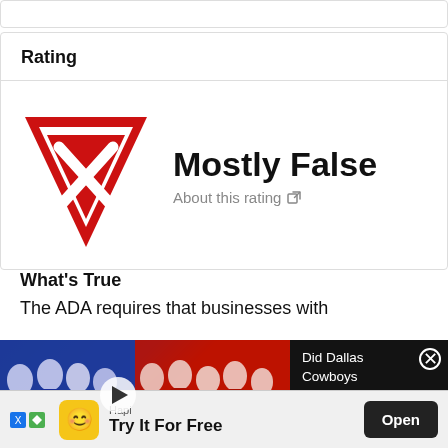Rating
[Figure (illustration): Red downward-pointing triangle with a white X inside, representing a 'Mostly False' rating icon]
Mostly False
About this rating ↗
What's True
The ADA requires that businesses with
[Figure (screenshot): Video thumbnail showing crowd in blue and red handmaid-style costumes with play button overlay, and a dark popup panel reading 'Did Dallas Cowboys Cheerleaders Get New Handmaid Uniforms?' with a close button]
Did Dallas Cowboys Cheerleaders Get New 'Handmaid' Uniforms?
[Figure (illustration): Ad banner: Hapi app icon (yellow smiley face), text 'Try It For Free', and Open button]